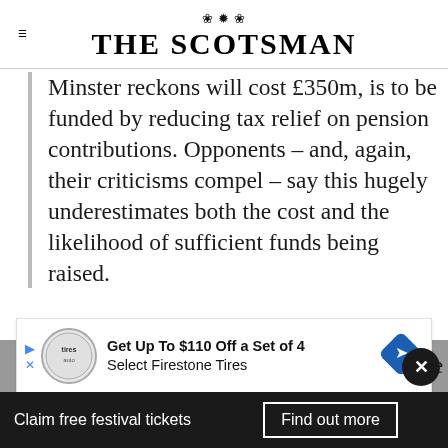THE SCOTSMAN
Minster reckons will cost £350m, is to be funded by reducing tax relief on pension contributions. Opponents – and, again, their criticisms compel – say this hugely underestimates both the cost and the likelihood of sufficient funds being raised.
Investment in the NHS is always going to appeal, while free childcare has already proved hugely popular either side of the Border. But...
[Figure (screenshot): Advertisement banner: Get Up To $110 Off a Set of 4 Select Firestone Tires]
sound less like a man of authority and more
Claim free festival tickets   Find out more